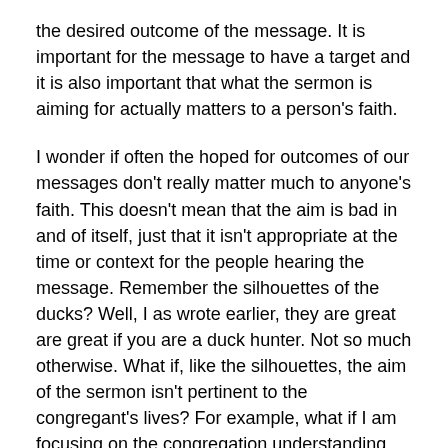the desired outcome of the message. It is important for the message to have a target and it is also important that what the sermon is aiming for actually matters to a person's faith.
I wonder if often the hoped for outcomes of our messages don't really matter much to anyone's faith. This doesn't mean that the aim is bad in and of itself, just that it isn't appropriate at the time or context for the people hearing the message. Remember the silhouettes of the ducks? Well, I as wrote earlier, they are great are great if you are a duck hunter. Not so much otherwise. What if, like the silhouettes, the aim of the sermon isn't pertinent to the congregant's lives? For example, what if I am focusing on the congregation understanding the political and societal aspects of the Ancient Near East because I think it is cool, but such info doesn't really help the members of the church live out their faith in 21st century America. The point then essentially the